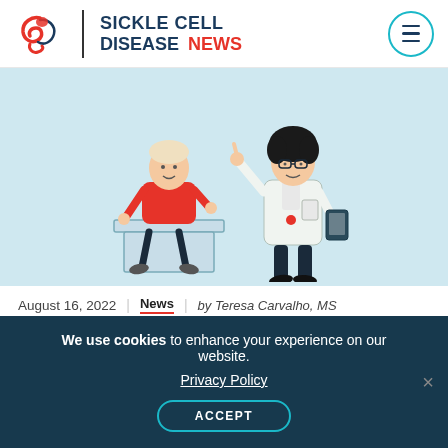SICKLE CELL DISEASE NEWS
[Figure (illustration): Illustration of a patient sitting on an exam table (wearing red shirt) facing a doctor in a white coat holding a clipboard and raising one finger, on a light blue background.]
August 16, 2022 | News | by Teresa Carvalho, MS
Nula-cel (GPH101) Gene Therapy Phase 1/2 Trial
We use cookies to enhance your experience on our website. Privacy Policy ACCEPT